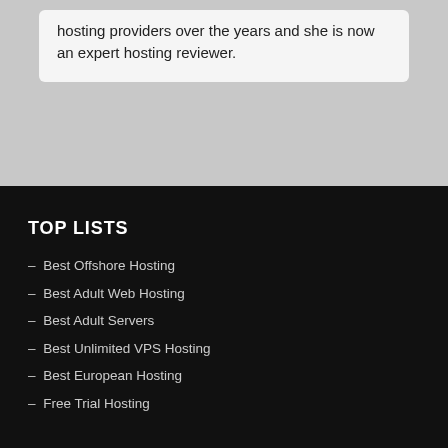hosting providers over the years and she is now an expert hosting reviewer.
TOP LISTS
– Best Offshore Hosting
– Best Adult Web Hosting
– Best Adult Servers
– Best Unlimited VPS Hosting
– Best European Hosting
– Free Trial Hosting